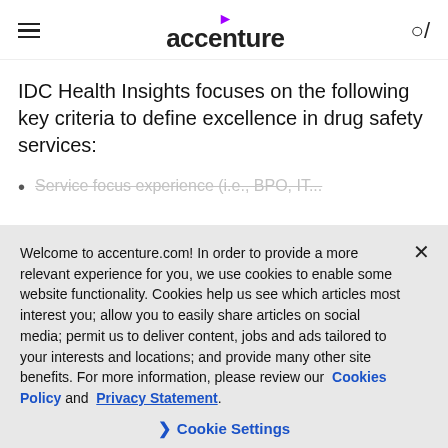accenture
IDC Health Insights focuses on the following key criteria to define excellence in drug safety services:
Service focus experience (i.e., BPO, IT...
Welcome to accenture.com! In order to provide a more relevant experience for you, we use cookies to enable some website functionality. Cookies help us see which articles most interest you; allow you to easily share articles on social media; permit us to deliver content, jobs and ads tailored to your interests and locations; and provide many other site benefits. For more information, please review our Cookies Policy and Privacy Statement.
Cookie Settings